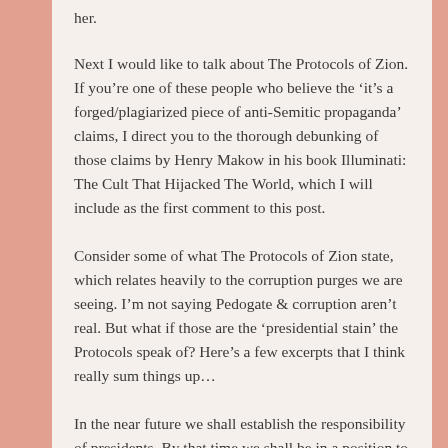her.
Next I would like to talk about The Protocols of Zion. If you’re one of these people who believe the ‘it’s a forged/plagiarized piece of anti-Semitic propaganda’ claims, I direct you to the thorough debunking of those claims by Henry Makow in his book Illuminati: The Cult That Hijacked The World, which I will include as the first comment to this post.
Consider some of what The Protocols of Zion state, which relates heavily to the corruption purges we are seeing. I’m not saying Pedogate & corruption aren’t real. But what if those are the ‘presidential stain’ the Protocols speak of? Here’s a few excerpts that I think really sum things up…
In the near future we shall establish the responsibility of presidents. By that time we shall be in a position to disregard